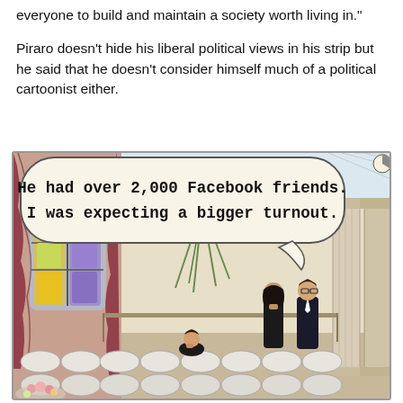everyone to build and maintain a society worth living in."
Piraro doesn't hide his liberal political views in his strip but he said that he doesn't consider himself much of a political cartoonist either.
[Figure (illustration): A Bizarro comic strip showing a funeral scene with very few attendees in a large church/chapel. Two people stand at the back in black clothing. A speech bubble reads: 'He had over 2,000 Facebook friends. I was expecting a bigger turnout.' Stained glass windows are visible on the left, and classical columns on the right.]